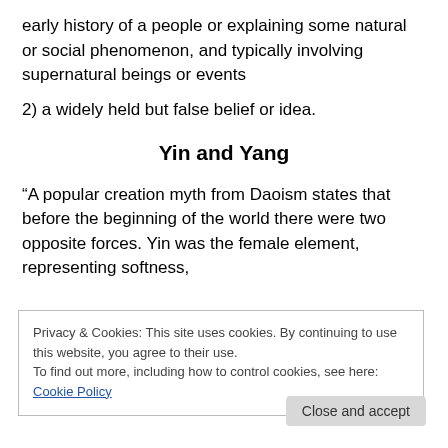early history of a people or explaining some natural or social phenomenon, and typically involving supernatural beings or events
2) a widely held but false belief or idea.
Yin and Yang
“A popular creation myth from Daoism states that before the beginning of the world there were two opposite forces. Yin was the female element, representing softness,
Privacy & Cookies: This site uses cookies. By continuing to use this website, you agree to their use.
To find out more, including how to control cookies, see here: Cookie Policy